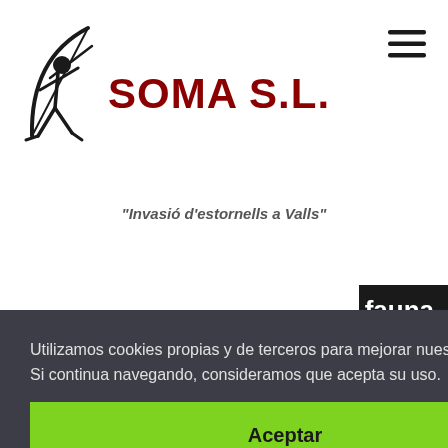[Figure (logo): SOMA S.L. company logo with archer figure silhouette and brand name in dark red]
"Invasió d'estornells a Valls"
Utilizamos cookies propias y de terceros para mejorar nuestros servicios. Si continua navegando, consideramos que acepta su uso. Leer más
Aceptar